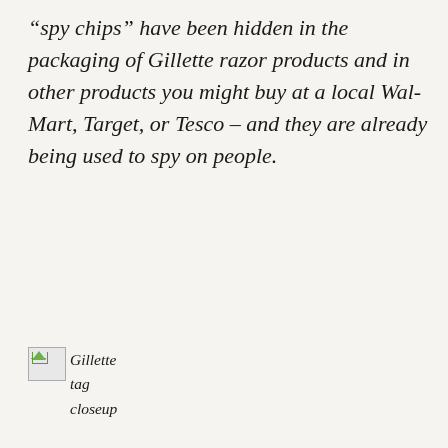“spy chips” have been hidden in the packaging of Gillette razor products and in other products you might buy at a local Wal-Mart, Target, or Tesco – and they are already being used to spy on people.
[Figure (photo): Broken image placeholder labeled 'Gillette tag closeup']
Gillette tag closeup